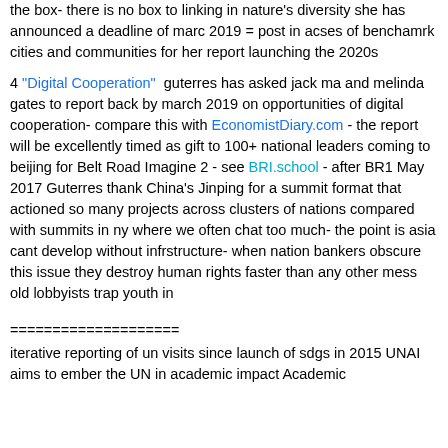the box- there is no box to linking in nature's diversity she has announced a deadline of marc 2019 = post in acses of benchamrk cities and communities for her report launching the 2020s
4 "Digital Cooperation" guterres has asked jack ma and melinda gates to report back by march 2019 on opportunities of digital cooperation- compare this with EconomistDiary.com - the report will be excellently timed as gift to 100+ national leaders coming to beijing for Belt Road Imagine 2 - see BRI.school - after BR1 May 2017 Guterres thank China's Jinping for a summit format that actioned so many projects across clusters of nations compared with summits in ny where we often chat too much- the point is asia cant develop without infrstructure- when nation bankers obscure this issue they destroy human rights faster than any other mess old lobbyists trap youth in
====================
iterative reporting of un visits since launch of sdgs in 2015 UNAI aims to ember the UN in academic impact Academic